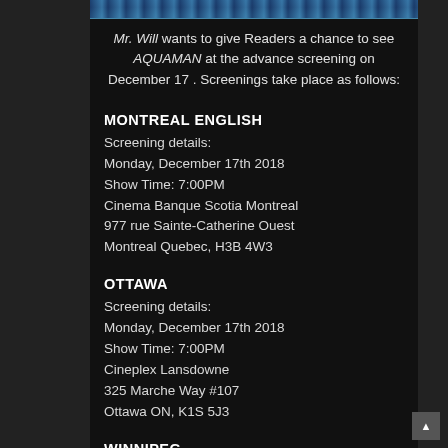[Figure (photo): Aquaman movie banner/promotional image at top]
Mr. Will wants to give Readers a chance to see AQUAMAN at the advance screening on December 17 . Screenings take place as follows:
MONTREAL ENGLISH
Screening details:
Monday, December 17th 2018
Show Time: 7:00PM
Cinema Banque Scotia Montreal
977 rue Sainte-Catherine Ouest
Montreal Quebec, H3B 4W3
OTTAWA
Screening details:
Monday, December 17th 2018
Show Time: 7:00PM
Cineplex Lansdowne
325 Marche Way #107
Ottawa ON, K1S 5J3
WINNIPEG
Screening details:
Monday, December 17th 2018
Show Time: 7:00PM